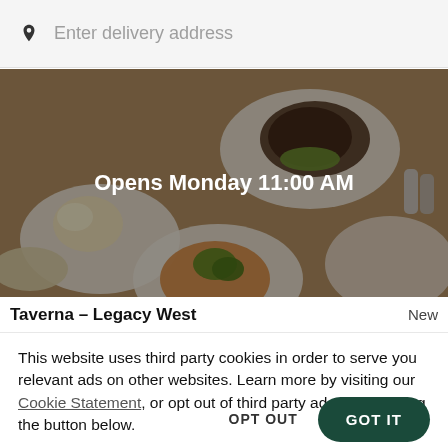Enter delivery address
[Figure (photo): Overhead shot of restaurant dishes on white plates against a dark wooden table, with a semi-transparent dark overlay. Text overlay reads 'Opens Monday 11:00 AM'.]
Taverna – Legacy West
New
This website uses third party cookies in order to serve you relevant ads on other websites. Learn more by visiting our Cookie Statement, or opt out of third party ad cookies using the button below.
OPT OUT
GOT IT